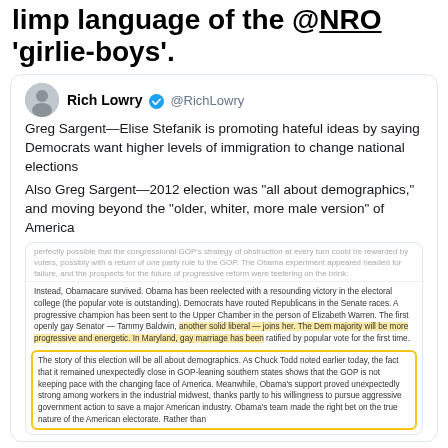limp language of the @NRO 'girlie-boys'.
[Figure (screenshot): Embedded tweet from Rich Lowry (@RichLowry) with two tweet body texts and a nested article excerpt with yellow highlighted text]
perfectly possible that the congressional GOP's strategy of obstruction at every turn could be rewarded by voters, possibly with a return of one party rule to the GOP. The Obama experiment appeared headed for failure, and the prospects for the future of progressive reform were teetering on the brink.

Instead, Obamacare survived. Obama has been reelected with a resounding victory in the electoral college (the popular vote is outstanding). Democrats have routed Republicans in the Senate races. A progressive champion has been sent to the Upper Chamber in the person of Elizabeth Warren. The first openly gay Senator — Tammy Baldwin, another solid liberal — joins her. The Dem majority will be more progressive and energetic. In Maryland, gay marriage has been ratified by popular vote for the first time.

The story of this election will be all about demographics. As Chuck Todd noted earlier today, the fact that it remained unexpectedly close in GOP-leaning southern states shows that the GOP is not keeping pace with the changing face of America. Meanwhile, Obama's support proved unexpectedly strong among workers in the industrial midwest, thanks partly to his willingness to pursue aggressive government action to save a major American industry. Obama's team made the right bet on the true nature of the American electorate. Rather than